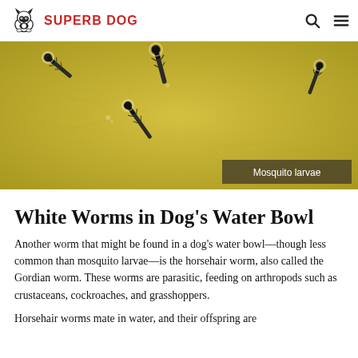SUPERB DOG
[Figure (photo): Mosquito larvae floating in yellowish water, viewed from above. Several dark elongated larvae with visible heads are suspended at the water surface.]
Mosquito larvae
White Worms in Dog’s Water Bowl
Another worm that might be found in a dog’s water bowl—though less common than mosquito larvae—is the horsehair worm, also called the Gordian worm. These worms are parasitic, feeding on arthropods such as crustaceans, cockroaches, and grasshoppers.
Horsehair worms mate in water, and their offspring are